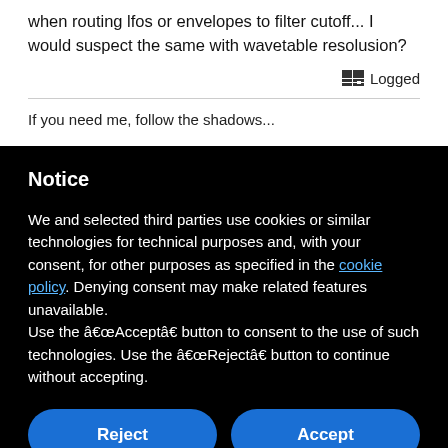when routing lfos or envelopes to filter cutoff... I would suspect the same with wavetable resolusion?
Logged
If you need me, follow the shadows...
Notice
We and selected third parties use cookies or similar technologies for technical purposes and, with your consent, for other purposes as specified in the cookie policy. Denying consent may make related features unavailable.
Use the â€œAcceptâ€� button to consent to the use of such technologies. Use the â€œRejectâ€� button to continue without accepting.
Reject
Accept
Learn more and customize